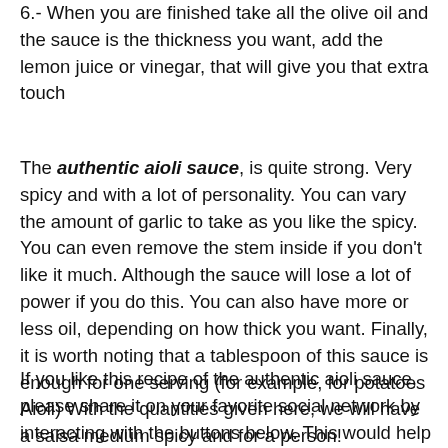6.- When you are finished take all the olive oil and the sauce is the thickness you want, add the lemon juice or vinegar, that will give you that extra touch
The authentic aioli sauce, is quite strong. Very spicy and with a lot of personality. You can vary the amount of garlic to take as you like the spicy. You can even remove the stem inside if you don't like it much. Although the sauce will lose a lot of power if you do this. You can also have more or less oil, depending on how thick you want. Finally, it is worth noting that a tablespoon of this sauce is enough for one serving (for example, for potatoes Aioli) With the quantities given here, we will have a salsa medium spicy and for a person!
If you like this recipe of the authentic aioli sauce, please share it on your favorite social network by interacting with the buttons below. This would help me a lot!